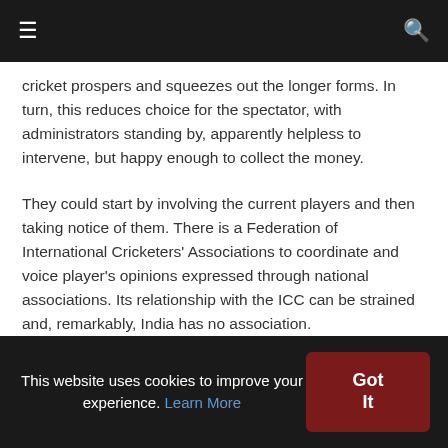≡  🔍
cricket prospers and squeezes out the longer forms. In turn, this reduces choice for the spectator, with administrators standing by, apparently helpless to intervene, but happy enough to collect the money.
They could start by involving the current players and then taking notice of them. There is a Federation of International Cricketers' Associations to coordinate and voice player's opinions expressed through national associations. Its relationship with the ICC can be strained and, remarkably, India has no association.
It seems to be assumed that players will not complain because they are highly paid, that spectators and viewers
This website uses cookies to improve your experience. Learn More  Got It